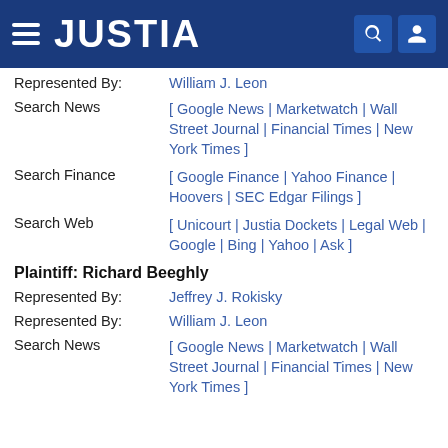JUSTIA
Represented By: William J. Leon
Search News [ Google News | Marketwatch | Wall Street Journal | Financial Times | New York Times ]
Search Finance [ Google Finance | Yahoo Finance | Hoovers | SEC Edgar Filings ]
Search Web [ Unicourt | Justia Dockets | Legal Web | Google | Bing | Yahoo | Ask ]
Plaintiff: Richard Beeghly
Represented By: Jeffrey J. Rokisky
Represented By: William J. Leon
Search News [ Google News | Marketwatch | Wall Street Journal | Financial Times | New York Times ]